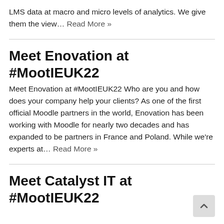LMS data at macro and micro levels of analytics. We give them the view… Read More »
Meet Enovation at #MootIEUK22
Meet Enovation at #MootIEUK22 Who are you and how does your company help your clients? As one of the first official Moodle partners in the world, Enovation has been working with Moodle for nearly two decades and has expanded to be partners in France and Poland. While we're experts at… Read More »
Meet Catalyst IT at #MootIEUK22